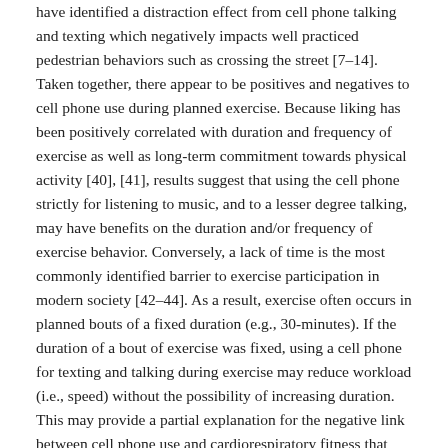have identified a distraction effect from cell phone talking and texting which negatively impacts well practiced pedestrian behaviors such as crossing the street [7–14]. Taken together, there appear to be positives and negatives to cell phone use during planned exercise. Because liking has been positively correlated with duration and frequency of exercise as well as long-term commitment towards physical activity [40], [41], results suggest that using the cell phone strictly for listening to music, and to a lesser degree talking, may have benefits on the duration and/or frequency of exercise behavior. Conversely, a lack of time is the most commonly identified barrier to exercise participation in modern society [42–44]. As a result, exercise often occurs in planned bouts of a fixed duration (e.g., 30-minutes). If the duration of a bout of exercise was fixed, using a cell phone for texting and talking during exercise may reduce workload (i.e., speed) without the possibility of increasing duration. This may provide a partial explanation for the negative link between cell phone use and cardiorespiratory fitness that our group has previously identified.